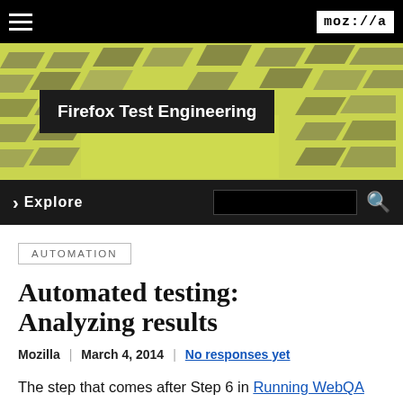moz://a
[Figure (screenshot): Firefox Test Engineering hero banner with geometric pattern background in yellow-green and dark gray, with title 'Firefox Test Engineering' in white text on black background box]
> Explore [search box] [search icon]
AUTOMATION
Automated testing: Analyzing results
Mozilla | March 4, 2014 | No responses yet
The step that comes after Step 6 in Running WebQA Automated tests is Analyzing Results! The last article was all about how to get set up for automation, and